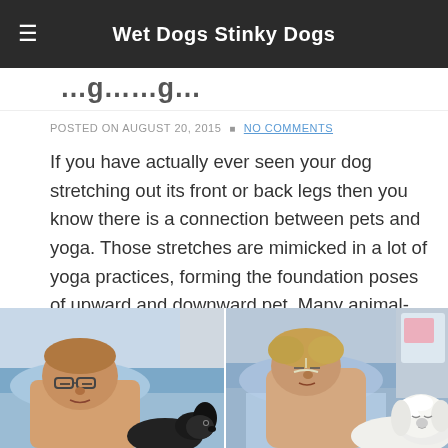Wet Dogs Stinky Dogs
...g...g...
POSTED ON AUGUST 20, 2015 · NO COMMENTS
If you have actually ever seen your dog stretching out its front or back legs then you know there is a connection between pets and yoga. Those stretches are mimicked in a lot of yoga practices, forming the foundation poses of upward and downward pet. Many animal-like positions are featured[…]
[Figure (photo): Two side-by-side photos of hospital patients with dogs. Left photo: a man lying in a hospital bed with a small black dog. Right photo: a woman lying in a hospital bed with a large white fluffy dog beside her.]